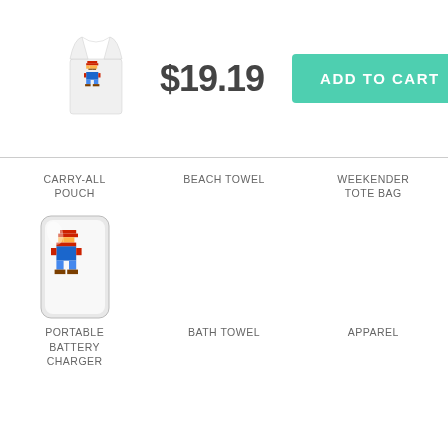[Figure (photo): Tank top product image with Mario character]
$19.19
ADD TO CART
CARRY-ALL POUCH
BEACH TOWEL
WEEKENDER TOTE BAG
[Figure (photo): Portable battery charger product with Mario character]
PORTABLE BATTERY CHARGER
BATH TOWEL
APPAREL
COFFEE MUG
YOGA MAT
SPIRAL NOTEBOOK